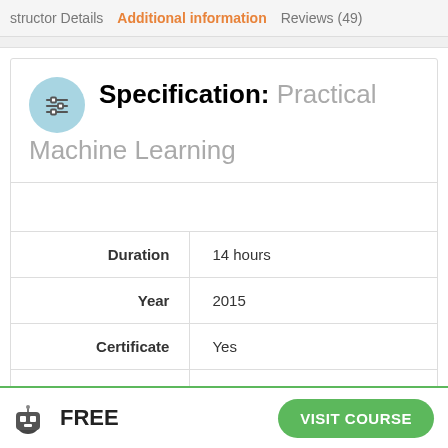structor Details   Additional information   Reviews (49)
Specification: Practical Machine Learning
|  |  |
| --- | --- |
| Duration | 14 hours |
| Year | 2015 |
| Certificate | Yes |
| Quizzes | Yes |
FREE   VISIT COURSE